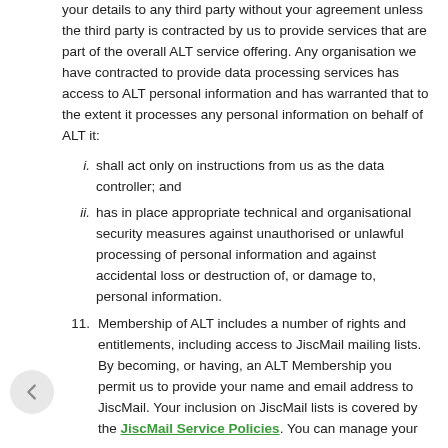your details to any third party without your agreement unless the third party is contracted by us to provide services that are part of the overall ALT service offering. Any organisation we have contracted to provide data processing services has access to ALT personal information and has warranted that to the extent it processes any personal information on behalf of ALT it:
i. shall act only on instructions from us as the data controller; and
ii. has in place appropriate technical and organisational security measures against unauthorised or unlawful processing of personal information and against accidental loss or destruction of, or damage to, personal information.
11. Membership of ALT includes a number of rights and entitlements, including access to JiscMail mailing lists. By becoming, or having, an ALT Membership you permit us to provide your name and email address to JiscMail. Your inclusion on JiscMail lists is covered by the JiscMail Service Policies. You can manage your